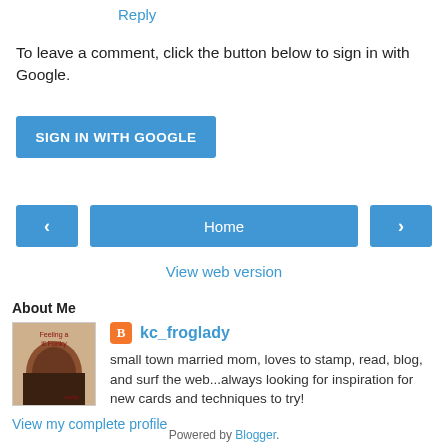Reply
To leave a comment, click the button below to sign in with Google.
[Figure (other): Blue button labeled SIGN IN WITH GOOGLE]
[Figure (other): Navigation bar with left arrow, Home button, right arrow]
View web version
About Me
[Figure (photo): Profile photo thumbnail showing a crafting image with text Feeling a lil Funky today]
kc_froglady
small town married mom, loves to stamp, read, blog, and surf the web...always looking for inspiration for new cards and techniques to try!
View my complete profile
Powered by Blogger.